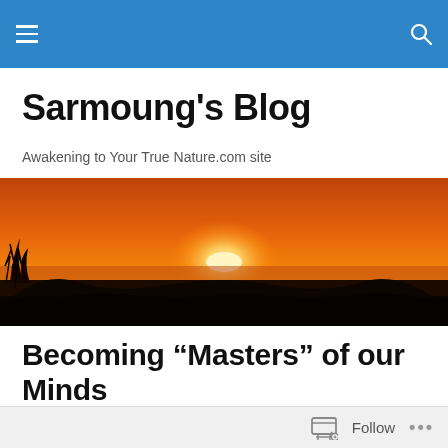Navigation bar with hamburger menu and search icon
Sarmoung's Blog
Awakening to Your True Nature.com site
[Figure (photo): Panoramic sunset photo with orange sky, sun on the horizon, and silhouetted trees/landscape]
Becoming “Masters” of our Minds
1 Vote
Follow ...